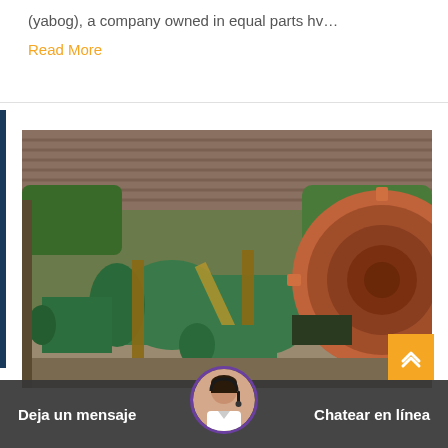(yabog), a company owned in equal parts hv…
Read More
[Figure (photo): Industrial machinery photograph showing large green ball mill and orange/rust-colored gear wheel mechanism under a corrugated metal roof shed. Heavy industrial mining or milling equipment.]
Deja un mensaje
Chatear en línea